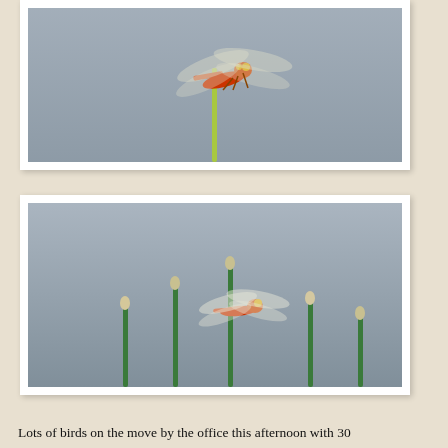[Figure (photo): Close-up photo of a red dragonfly perched on top of a thin green stem, against a grey sky background.]
[Figure (photo): Photo of a red dragonfly perched on one of several green reed stems with small white flower buds, against a grey sky background.]
Lots of birds on the move by the office this afternoon with 30